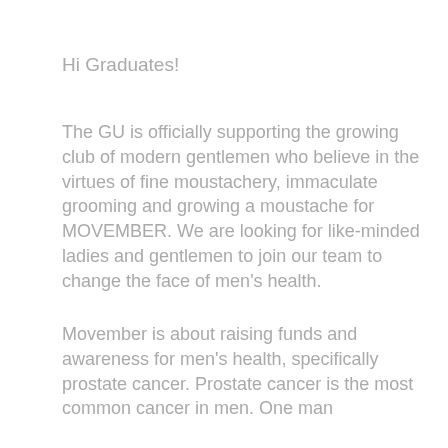Hi Graduates!
The GU is officially supporting the growing club of modern gentlemen who believe in the virtues of fine moustachery, immaculate grooming and growing a moustache for MOVEMBER. We are looking for like-minded ladies and gentlemen to join our team to change the face of men's health.
Movember is about raising funds and awareness for men's health, specifically prostate cancer. Prostate cancer is the most common cancer in men. One man